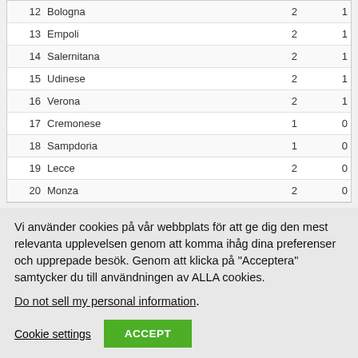| # | Team |  |  |
| --- | --- | --- | --- |
| 12 | Bologna | 2 | 1 |
| 13 | Empoli | 2 | 1 |
| 14 | Salernitana | 2 | 1 |
| 15 | Udinese | 2 | 1 |
| 16 | Verona | 2 | 1 |
| 17 | Cremonese | 1 | 0 |
| 18 | Sampdoria | 1 | 0 |
| 19 | Lecce | 2 | 0 |
| 20 | Monza | 2 | 0 |
Vi använder cookies på vår webbplats för att ge dig den mest relevanta upplevelsen genom att komma ihåg dina preferenser och upprepade besök. Genom att klicka på "Acceptera" samtycker du till användningen av ALLA cookies.
Do not sell my personal information.
Cookie settings  ACCEPT